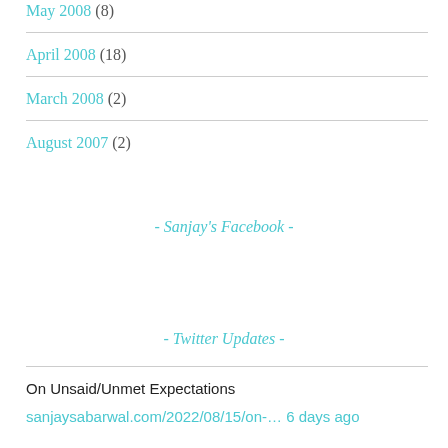May 2008 (8)
April 2008 (18)
March 2008 (2)
August 2007 (2)
- Sanjay's Facebook -
- Twitter Updates -
On Unsaid/Unmet Expectations
sanjaysabarwal.com/2022/08/15/on-… 6 days ago